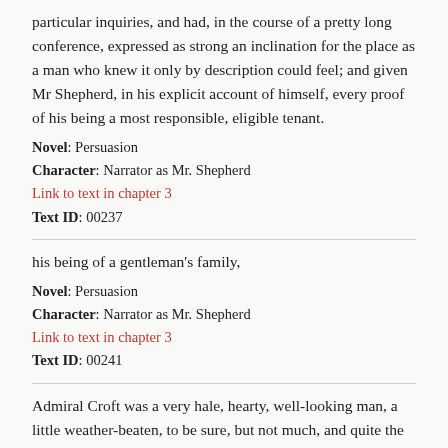particular inquiries, and had, in the course of a pretty long conference, expressed as strong an inclination for the place as a man who knew it only by description could feel; and given Mr Shepherd, in his explicit account of himself, every proof of his being a most responsible, eligible tenant.
Novel: Persuasion
Character: Narrator as Mr. Shepherd
Link to text in chapter 3
Text ID: 00237
his being of a gentleman's family,
Novel: Persuasion
Character: Narrator as Mr. Shepherd
Link to text in chapter 3
Text ID: 00241
Admiral Croft was a very hale, hearty, well-looking man, a little weather-beaten, to be sure, but not much, and quite the gentleman in all his notions and behaviour; not likely to make the smallest difficulty about terms, only wanted a comfortable